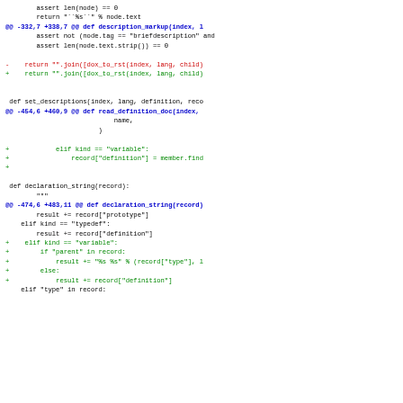[Figure (screenshot): A unified diff / code patch view showing modifications to Python source code. Lines are shown in monospace font with color coding: black for context lines, blue/bold for hunk headers, red for removed lines, and green for added lines. The diff covers functions: description_markup, set_descriptions, read_definition_doc, declaration_string.]